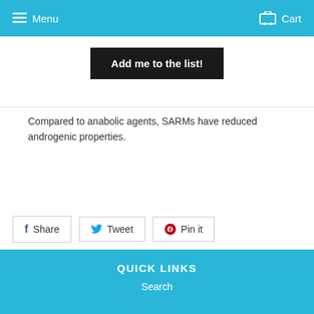Menu  Cart
Add me to the list!
Compared to anabolic agents, SARMs have reduced androgenic properties.
Share  Tweet  Pin it
QUICK LINKS
Search